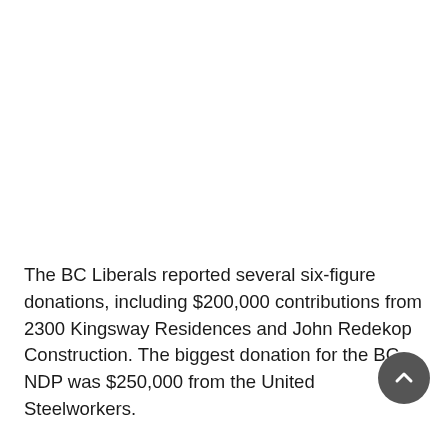The BC Liberals reported several six-figure donations, including $200,000 contributions from 2300 Kingsway Residences and John Redekop Construction. The biggest donation for the BC NDP was $250,000 from the United Steelworkers.
Donations promise to be a hot issue going into the